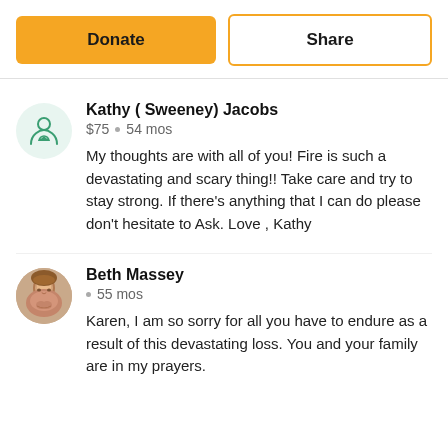Donate
Share
Kathy ( Sweeney) Jacobs
$75 • 54 mos
My thoughts are with all of you! Fire is such a devastating and scary thing!! Take care and try to stay strong. If there's anything that I can do please don't hesitate to Ask. Love , Kathy
Beth Massey
• 55 mos
Karen, I am so sorry for all you have to endure as a result of this devastating loss. You and your family are in my prayers.